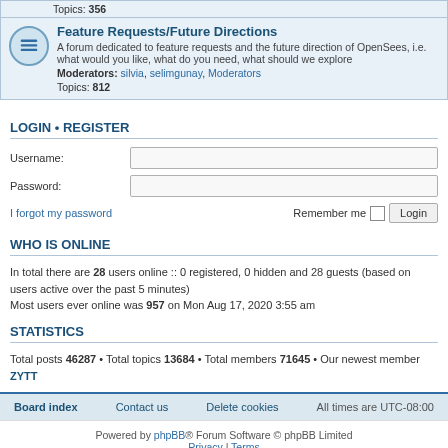Topics: 356
Feature Requests/Future Directions
A forum dedicated to feature requests and the future direction of OpenSees, i.e. what would you like, what do you need, what should we explore
Moderators: silvia, selimgunay, Moderators
Topics: 812
LOGIN • REGISTER
Username:
Password:
I forgot my password
Remember me  Login
WHO IS ONLINE
In total there are 28 users online :: 0 registered, 0 hidden and 28 guests (based on users active over the past 5 minutes)
Most users ever online was 957 on Mon Aug 17, 2020 3:55 am
STATISTICS
Total posts 46287 • Total topics 13684 • Total members 71645 • Our newest member ZYTT
Board index  Contact us  Delete cookies  All times are UTC-08:00
Powered by phpBB® Forum Software © phpBB Limited  Privacy | Terms